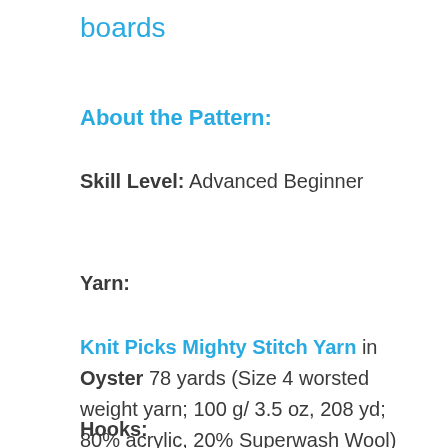boards
About the Pattern:
Skill Level: Advanced Beginner
Yarn:
Knit Picks Mighty Stitch Yarn in Oyster 78 yards (Size 4 worsted weight yarn; 100 g/ 3.5 oz, 208 yd; 80% acrylic, 20% Superwash Wool)
Hooks: